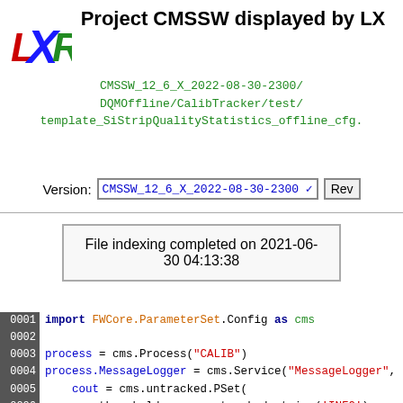Project CMSSW displayed by LXR
CMSSW_12_6_X_2022-08-30-2300/DQMOffline/CalibTracker/test/template_SiStripQualityStatistics_offline_cfg.
Version: CMSSW_12_6_X_2022-08-30-2300
File indexing completed on 2021-06-30 04:13:38
0001 import FWCore.ParameterSet.Config as cms
0002
0003 process = cms.Process("CALIB")
0004 process.MessageLogger = cms.Service("MessageLogger",
0005     cout = cms.untracked.PSet(
0006         threshold = cms.untracked.string('INFO')
0007     ),
0008     destinations = cms.untracked.vstring('cout')
0009 )